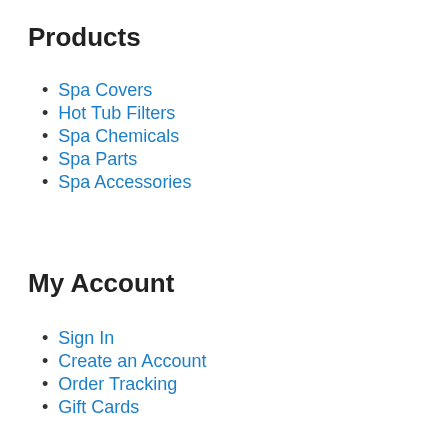Products
Spa Covers
Hot Tub Filters
Spa Chemicals
Spa Parts
Spa Accessories
My Account
Sign In
Create an Account
Order Tracking
Gift Cards